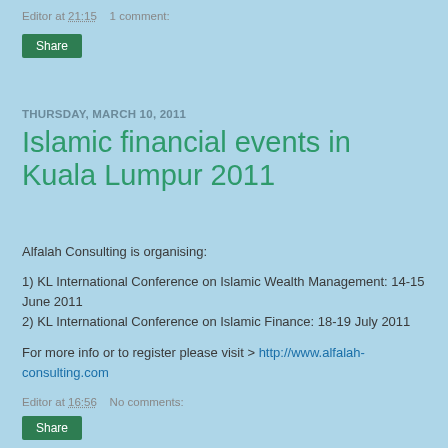Editor at 21:15    1 comment:
Share
THURSDAY, MARCH 10, 2011
Islamic financial events in Kuala Lumpur 2011
Alfalah Consulting is organising:
1) KL International Conference on Islamic Wealth Management: 14-15 June 2011
2) KL International Conference on Islamic Finance: 18-19 July 2011
For more info or to register please visit > http://www.alfalah-consulting.com
Editor at 16:56    No comments:
Share